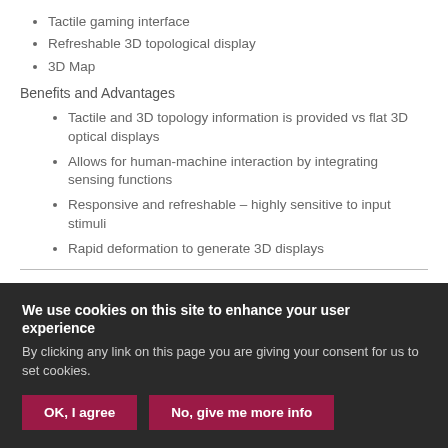Tactile gaming interface
Refreshable 3D topological display
3D Map
Benefits and Advantages
Tactile and 3D topology information is provided vs flat 3D optical displays
Allows for human-machine interaction by integrating sensing functions
Responsive and refreshable – highly sensitive to input stimuli
Rapid deformation to generate 3D displays
We use cookies on this site to enhance your user experience
By clicking any link on this page you are giving your consent for us to set cookies.
OK, I agree
No, give me more info